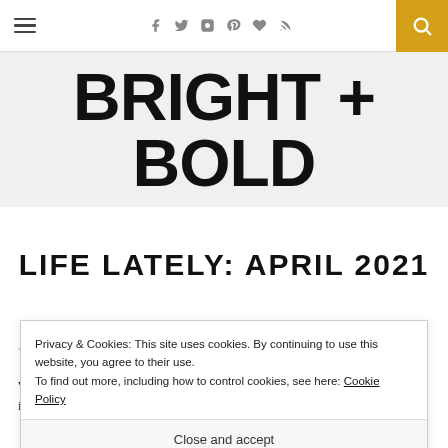Navigation bar with hamburger menu, social icons (Facebook, Twitter, Instagram, Pinterest, Bloglovin, RSS), and search button
[Figure (logo): BRIGHT + BOLD blog logo in large bold black text on light grey background]
LIFE LATELY: APRIL 2021
Privacy & Cookies: This site uses cookies. By continuing to use this website, you agree to their use. To find out more, including how to control cookies, see here: Cookie Policy
Close and accept
We live in peculiar times. I am sure one day we will look back to this moment in history and will want to remember what it was like to